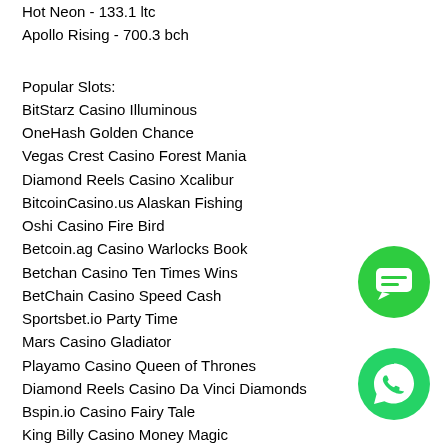Hot Neon - 133.1 ltc
Apollo Rising - 700.3 bch
Popular Slots:
BitStarz Casino Illuminous
OneHash Golden Chance
Vegas Crest Casino Forest Mania
Diamond Reels Casino Xcalibur
BitcoinCasino.us Alaskan Fishing
Oshi Casino Fire Bird
Betcoin.ag Casino Warlocks Book
Betchan Casino Ten Times Wins
BetChain Casino Speed Cash
Sportsbet.io Party Time
Mars Casino Gladiator
Playamo Casino Queen of Thrones
Diamond Reels Casino Da Vinci Diamonds
Bspin.io Casino Fairy Tale
King Billy Casino Money Magic
[Figure (illustration): Green circular chat button with speech bubble icon]
[Figure (illustration): Green circular WhatsApp button with phone handset icon]